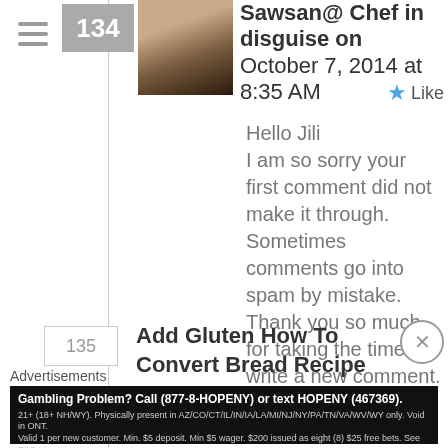134
[Figure (photo): Avatar photo of a woman wearing a hijab]
Sawsan@ Chef in disguise on October 7, 2014 at 8:35 AM
Like
Hello Jili
I am so sorry your first comment did not make it through. Sometimes comments go into spam by mistake. Thank you so much for taking the time to write a new comment.
I am really happy you and your husband enjoy my pita bread recipe 🙂
135
Add Gluten How To Convert Bread Recipe
Advertisements
Gambling Problem? Call (877-8-HOPENY) or text HOPENY (467369). 21+ (18+ NH/WY). Physically present in AZ/CO/CT/IL/IN/IA/LA/MI/NJ/NY/PA/TN/VA/WV/WY only. Void in ONT. Valid 1 per new customer. Min. $5 deposit. Min $5 wager. $200 issued as eight (8) $25 free bets. See T&C at draftkings.com/sportsbook.